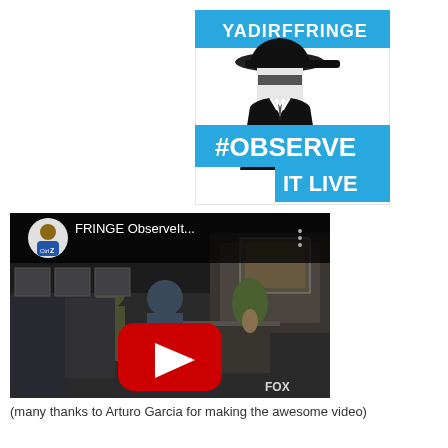[Figure (illustration): Friday Fringe promotional image showing a silhouette of a man in a fedora hat with text 'YADIRF FRINGE' (mirrored) at top and '#OBSERVE IT LIVE' in blue banner below]
[Figure (screenshot): YouTube video thumbnail for 'FRINGE ObserveIt...' showing a scene from the TV show Fringe with a dark room interior, people seated, flowers on a table, FOX watermark, and a YouTube play button overlay]
(many thanks to Arturo Garcia for making the awesome video)